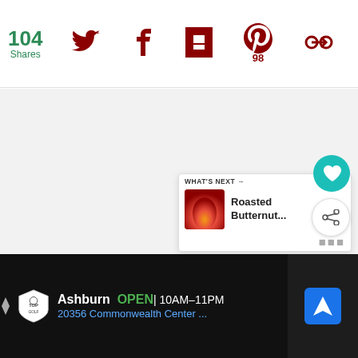104 Shares
[Figure (screenshot): Social sharing bar with Twitter, Facebook, Flipboard, Pinterest (98), and another share icon]
[Figure (screenshot): Main content area - light gray background (image placeholder)]
[Figure (screenshot): Floating action buttons: teal heart button and white share button]
[Figure (screenshot): What's next panel showing Roasted Butternut... with thumbnail]
[Figure (screenshot): Advertisement bar: Topgolf Ashburn OPEN 10AM-11PM, 20356 Commonwealth Center...]